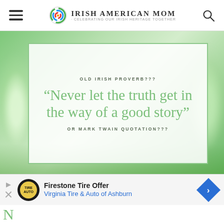Irish American Mom - Celebrating Our Irish Heritage Together
[Figure (illustration): Quote card on blurred green floral background. Card reads: OLD IRISH PROVERB??? / "Never let the truth get in the way of a good story" / OR MARK TWAIN QUOTATION???]
Firestone Tire Offer – Virginia Tire & Auto of Ashburn (advertisement)
N... (partial heading cut off)